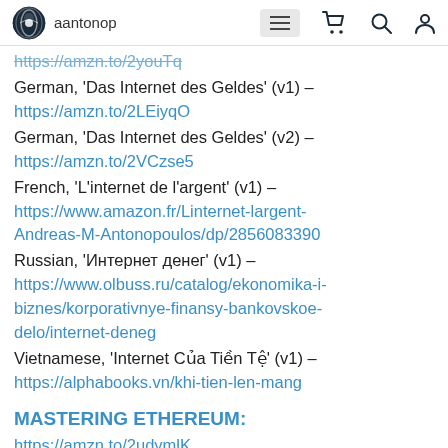aantonop
https://amzn.to/2youTq (truncated, partial)
German, 'Das Internet des Geldes' (v1) – https://amzn.to/2LEiyqO
German, 'Das Internet des Geldes' (v2) – https://amzn.to/2VCzse5
French, 'L'internet de l'argent' (v1) – https://www.amazon.fr/Linternet-largent-Andreas-M-Antonopoulos/dp/2856083390
Russian, 'Интернет денег' (v1) – https://www.olbuss.ru/catalog/ekonomika-i-biznes/korporativnye-finansy-bankovskoe-delo/internet-deneg
Vietnamese, 'Internet Của Tiền Tệ' (v1) – https://alphabooks.vn/khi-tien-len-mang
MASTERING ETHEREUM:
https://amzn.to/2udymlK (partial/truncated)